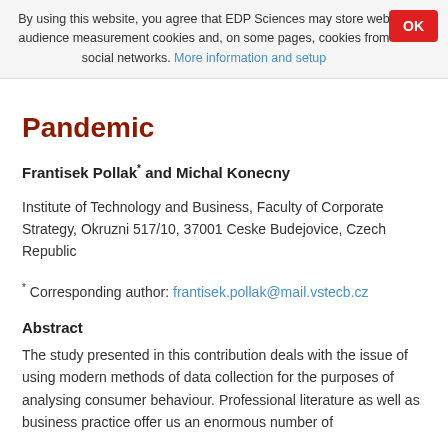By using this website, you agree that EDP Sciences may store web audience measurement cookies and, on some pages, cookies from social networks. More information and setup
Pandemic
Frantisek Pollak* and Michal Konecny
Institute of Technology and Business, Faculty of Corporate Strategy, Okruzni 517/10, 37001 Ceske Budejovice, Czech Republic
* Corresponding author: frantisek.pollak@mail.vstecb.cz
Abstract
The study presented in this contribution deals with the issue of using modern methods of data collection for the purposes of analysing consumer behaviour. Professional literature as well as business practice offer us an enormous number of